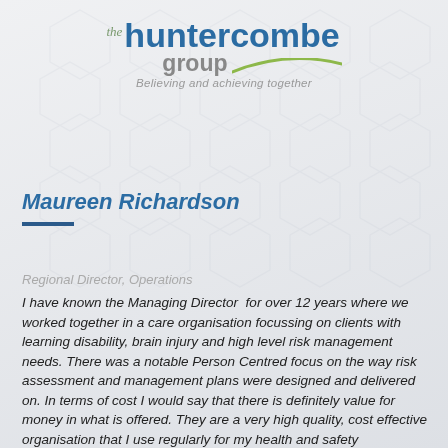[Figure (logo): The Huntercombe Group logo with green arc and tagline 'Believing and achieving together']
Maureen Richardson
Regional Director, Operations
I have known the Managing Director  for over 12 years where we worked together in a care organisation focussing on clients with learning disability, brain injury and high level risk management needs. There was a notable Person Centred focus on the way risk assessment and management plans were designed and delivered on. In terms of cost I would say that there is definitely value for money in what is offered. They are a very high quality, cost effective organisation that I use regularly for my health and safety